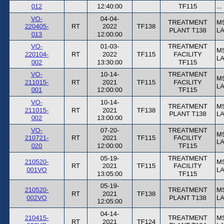| Case ID | Type | Date/Time | Facility ID | Facility Name | Lab |
| --- | --- | --- | --- | --- | --- |
| 012 |  | 12:40:00 |  | TF115 | ... |
| VO-220405-013 | RT | 04-04-2022 12:00:00 | TF138 | TREATMENT PLANT T138 | MSD LAB |
| VO-220104-002 | RT | 01-03-2022 13:30:00 | TF115 | TREATMENT FACILITY TF115 | MSD LAB |
| VO-211015-001 | RT | 10-14-2021 12:00:00 | TF115 | TREATMENT FACILITY TF115 | MSD LAB |
| VO-211015-002 | RT | 10-14-2021 13:00:00 | TF138 | TREATMENT PLANT T138 | MSD LAB |
| VO-210721-020 | RT | 07-20-2021 12:00:00 | TF115 | TREATMENT FACILITY TF115 | MSD LAB |
| 210520-001VO | RT | 05-19-2021 13:05:00 | TF115 | TREATMENT FACILITY TF115 | MSD LAB |
| 210520-002VO | RT | 05-19-2021 12:05:00 | TF138 | TREATMENT PLANT T138 | MSD LAB |
| 210415-002VO | RT | 04-14-2021 12:00:00 | TF124 | TREATMENT PLANT T124 | MSD LAB |